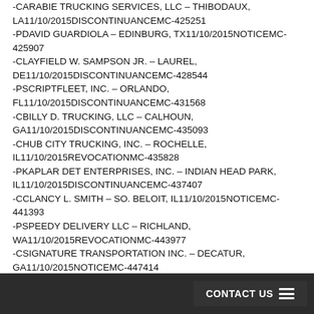-CARABIE TRUCKING SERVICES, LLC – THIBODAUX, LA11/10/2015DISCONTINUANCEMC-425251
-PDAVID GUARDIOLA – EDINBURG, TX11/10/2015NOTICEMC-425907
-CLAYFIELD W. SAMPSON JR. – LAUREL, DE11/10/2015DISCONTINUANCEMC-428544
-PSCRIPTFLEET, INC. – ORLANDO, FL11/10/2015DISCONTINUANCEMC-431568
-CBILLY D. TRUCKING, LLC – CALHOUN, GA11/10/2015DISCONTINUANCEMC-435093
-CHUB CITY TRUCKING, INC. – ROCHELLE, IL11/10/2015REVOCATIONMC-435828
-PKAPLAR DET ENTERPRISES, INC. – INDIAN HEAD PARK, IL11/10/2015DISCONTINUANCEMC-437407
-CCLANCY L. SMITH – SO. BELOIT, IL11/10/2015NOTICEMC-441393
-PSPEEDY DELIVERY LLC – RICHLAND, WA11/10/2015REVOCATIONMC-443977
-CSIGNATURE TRANSPORTATION INC. – DECATUR, GA11/10/2015NOTICEMC-447414
-DAIMZHER LLC – PHOENIX...
CONTACT US